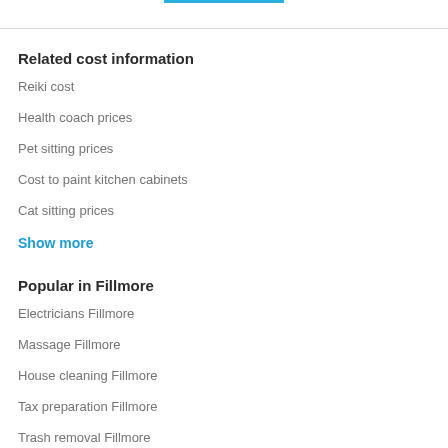Related cost information
Reiki cost
Health coach prices
Pet sitting prices
Cost to paint kitchen cabinets
Cat sitting prices
Show more
Popular in Fillmore
Electricians Fillmore
Massage Fillmore
House cleaning Fillmore
Tax preparation Fillmore
Trash removal Fillmore